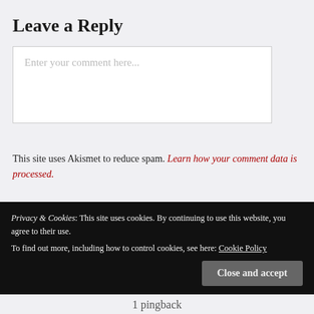Leave a Reply
Enter your comment here...
This site uses Akismet to reduce spam. Learn how your comment data is processed.
One thought on “Inside
Privacy & Cookies: This site uses cookies. By continuing to use this website, you agree to their use. To find out more, including how to control cookies, see here: Cookie Policy
Close and accept
1 pingback